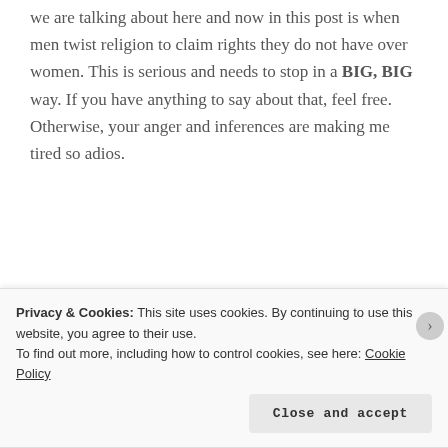we are talking about here and now in this post is when men twist religion to claim rights they do not have over women. This is serious and needs to stop in a BIG, BIG way. If you have anything to say about that, feel free. Otherwise, your anger and inferences are making me tired so adios.
Like
Privacy & Cookies: This site uses cookies. By continuing to use this website, you agree to their use. To find out more, including how to control cookies, see here: Cookie Policy
Close and accept